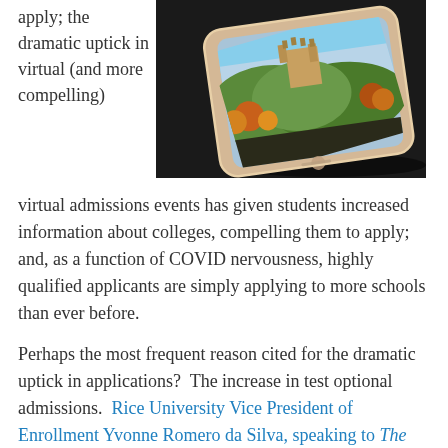apply; the dramatic uptick in virtual (and more compelling)
[Figure (photo): A smartphone lying on a dark surface displaying an image of a castle on a hill surrounded by autumn trees]
virtual admissions events has given students increased information about colleges, compelling them to apply; and, as a function of COVID nervousness, highly qualified applicants are simply applying to more schools than ever before.
Perhaps the most frequent reason cited for the dramatic uptick in applications?  The increase in test optional admissions.  Rice University Vice President of Enrollment Yvonne Romero da Silva, speaking to The Rice Thresher, noted: “The testing policy change may have encouraged students who thought they weren’t going to be competitive